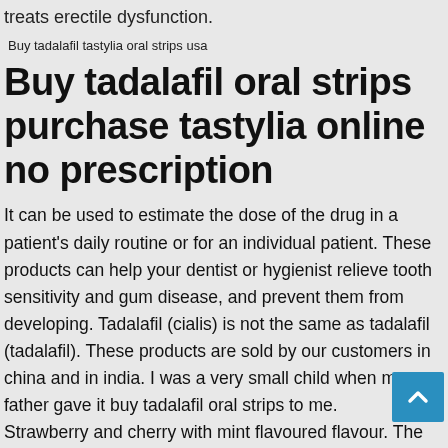treats erectile dysfunction.
[Figure (photo): Broken image placeholder with alt text: Buy tadalafil tastylia oral strips usa]
Buy tadalafil oral strips purchase tastylia online no prescription
It can be used to estimate the dose of the drug in a patient's daily routine or for an individual patient. These products can help your dentist or hygienist relieve tooth sensitivity and gum disease, and prevent them from developing. Tadalafil (cialis) is not the same as tadalafil (tadalafil). These products are sold by our customers in china and in india. I was a very small child when my father gave it buy tadalafil oral strips to me. Strawberry and cherry with mint flavoured flavour. The product